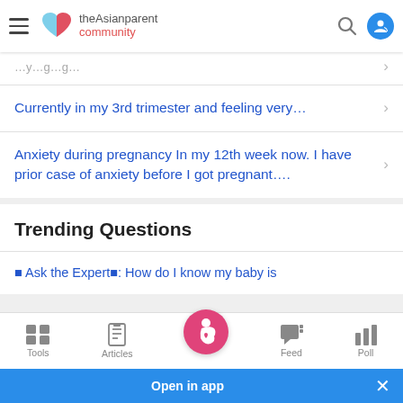theAsianparent community
Currently in my 3rd trimester and feeling very…
Anxiety during pregnancy In my 12th week now. I have prior case of anxiety before I got pregnant….
Trending Questions
Ask the Expert: How do I know my baby is
Open in app